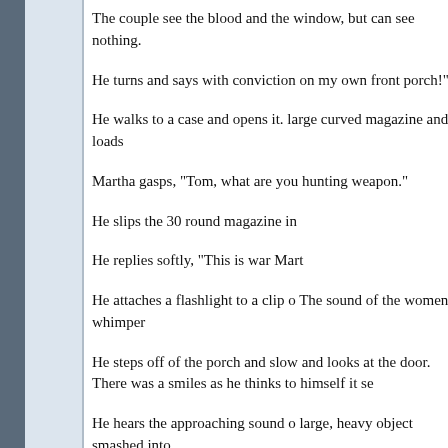The couple see the blood and the window, but can see nothing.
He turns and says with conviction on my own front porch!"
He walks to a case and opens it. large curved magazine and loads
Martha gasps, "Tom, what are you hunting weapon."
He slips the 30 round magazine in
He replies softly, "This is war Mart
He attaches a flashlight to a clip o The sound of the women whimper
He steps off of the porch and slow and looks at the door. There was a smiles as he thinks to himself it se
He hears the approaching sound o large, heavy object smashed into